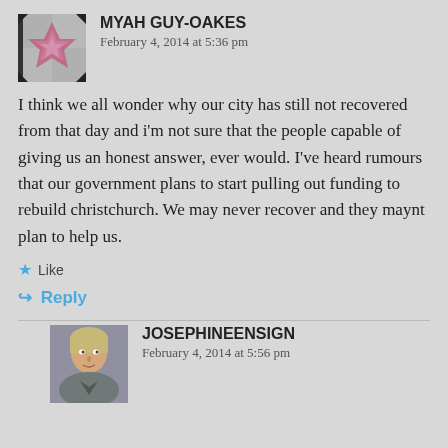MYAH GUY-OAKES
February 4, 2014 at 5:36 pm
I think we all wonder why our city has still not recovered from that day and i'm not sure that the people capable of giving us an honest answer, ever would. I've heard rumours that our government plans to start pulling out funding to rebuild christchurch. We may never recover and they maynt plan to help us.
Like
Reply
JOSEPHINEENSIGN
February 4, 2014 at 5:56 pm